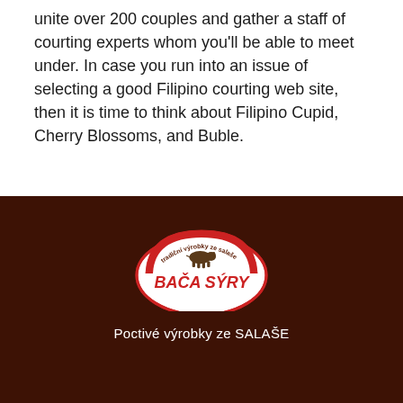unite over 200 couples and gather a staff of courting experts whom you'll be able to meet under. In case you run into an issue of selecting a good Filipino courting web site, then it is time to think about Filipino Cupid, Cherry Blossoms, and Buble.
[Figure (logo): Bača Sýry logo - a circular badge with red arch shape, stylized cow illustration, red italic text reading BAČA SÝRY, and curved text around the top reading 'tradiční výrobky ze salaše']
Poctivé výrobky ze SALAŠE
Kontakt